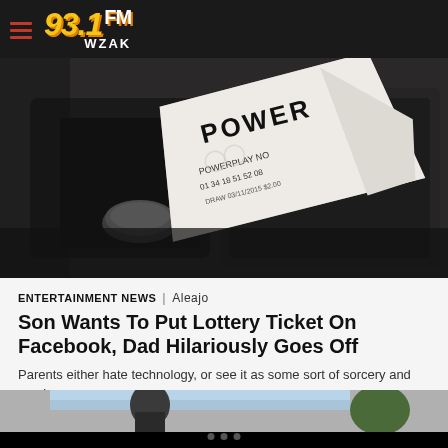93.1FM WZAK
[Figure (photo): A Powerball lottery ticket being scanned or inserted into a machine, showing ticket numbers and 'POWERPLAY NO' text on the ticket, dark background with machine hardware visible.]
ENTERTAINMENT NEWS | Aleajo
Son Wants To Put Lottery Ticket On Facebook, Dad Hilariously Goes Off
Parents either hate technology, or see it as some sort of sorcery and magic.
[Figure (photo): Partial bottom thumbnail image, partially visible, showing a person outdoors.]